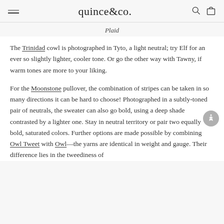quince&co.
Plaid
The Trinidad cowl is photographed in Tyto, a light neutral; try Elf for an ever so slightly lighter, cooler tone. Or go the other way with Tawny, if warm tones are more to your liking.
For the Moonstone pullover, the combination of stripes can be taken in so many directions it can be hard to choose! Photographed in a subtly-toned pair of neutrals, the sweater can also go bold, using a deep shade contrasted by a lighter one. Stay in neutral territory or pair two equally bold, saturated colors. Further options are made possible by combining Owl Tweet with Owl—the yarns are identical in weight and gauge. Their difference lies in the tweediness of